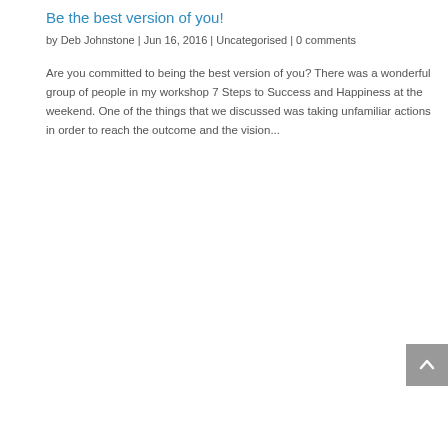Be the best version of you!
by Deb Johnstone  |  Jun 16, 2016  |  Uncategorised  |  0 comments
Are you committed to being the best version of you?  There was a wonderful group of people in my workshop 7 Steps to Success and Happiness at the weekend.  One of the things that we discussed was taking unfamiliar actions in order to reach the outcome and the vision...